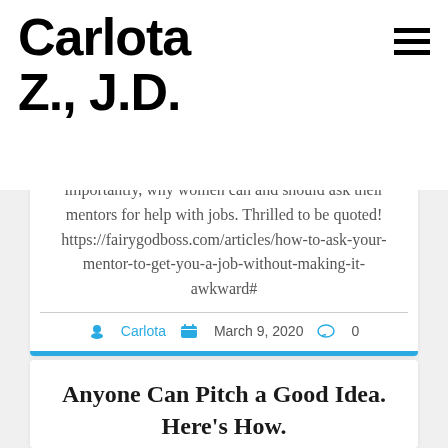Carlota Z., J.D.
importantly, why women can and should ask their mentors for help with jobs. Thrilled to be quoted! https://fairygodboss.com/articles/how-to-ask-your-mentor-to-get-you-a-job-without-making-it-awkward#
Carlota  March 9, 2020  0
Anyone Can Pitch a Good Idea. Here’s How.
So thrilled to be one of the career coaches quoted in this solid Rewire.org article: